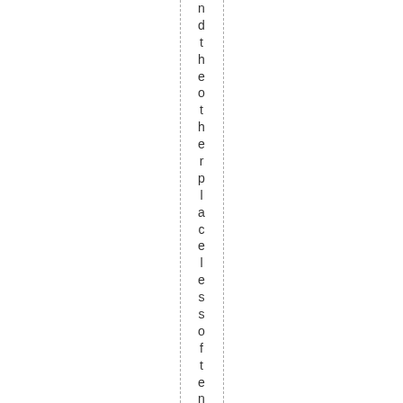ndtheotherplacelessoftenlately